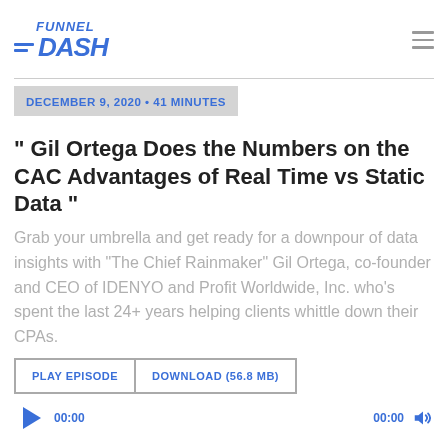[Figure (logo): Funnel Dash logo with italic bold text and horizontal lines]
DECEMBER 9, 2020 • 41 MINUTES
" Gil Ortega Does the Numbers on the CAC Advantages of Real Time vs Static Data "
Grab your umbrella and get ready for a downpour of data insights with "The Chief Rainmaker" Gil Ortega, co-founder and CEO of IDENYO and Profit Worldwide, Inc. who's spent the last 24+ years helping clients whittle down their CPAs.
PLAY EPISODE
DOWNLOAD (56.8 MB)
00:00
00:00